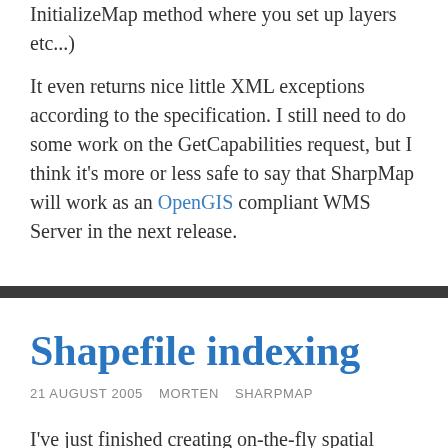InitializeMap method where you set up layers etc...)

It even returns nice little XML exceptions according to the specification. I still need to do some work on the GetCapabilities request, but I think it's more or less safe to say that SharpMap will work as an OpenGIS compliant WMS Server in the next release.
Shapefile indexing
21 AUGUST 2005   MORTEN   SHARPMAP
I've just finished creating on-the-fly spatial indexing for shapefiles in SharpMap, and what